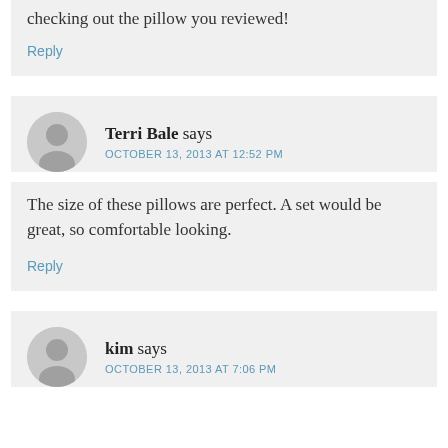checking out the pillow you reviewed!
Reply
Terri Bale says
OCTOBER 13, 2013 AT 12:52 PM
The size of these pillows are perfect. A set would be great, so comfortable looking.
Reply
kim says
OCTOBER 13, 2013 AT 7:06 PM